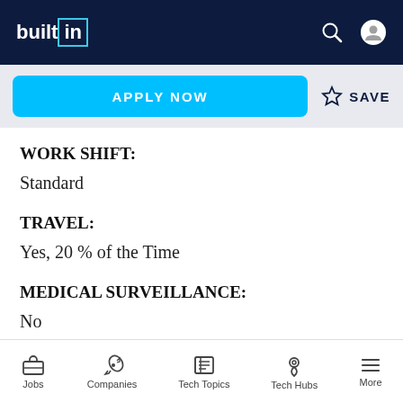builtin
APPLY NOW
SAVE
WORK SHIFT:
Standard
TRAVEL:
Yes, 20 % of the Time
MEDICAL SURVEILLANCE:
No
Jobs  Companies  Tech Topics  Tech Hubs  More